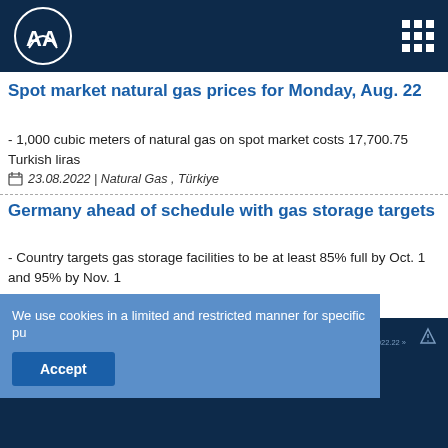AA (Anadolu Agency) logo and navigation
Spot market natural gas prices for Monday, Aug. 22
- 1,000 cubic meters of natural gas on spot market costs 17,700.75 Turkish liras
23.08.2022 | Natural Gas , Türkiye
Germany ahead of schedule with gas storage targets
- Country targets gas storage facilities to be at least 85% full by Oct. 1 and 95% by Nov. 1
23.08.2022 | Natural Gas , Europe
AA NATURAL GAS MARKET | A ELECTRICITY MARKET REVIEW | footer links
We use cookies in a limited and restricted manner for specific pu
Accept